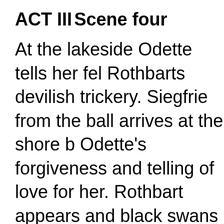ACT III
Scene four
At the lakeside Odette tells her fel Rothbarts devilish trickery. Siegfrie from the ball arrives at the shore b Odette's forgiveness and telling of love for her. Rothbart appears and black swans battle with Siegfried a forces of good until the light of the breaks and the forces of evil are v